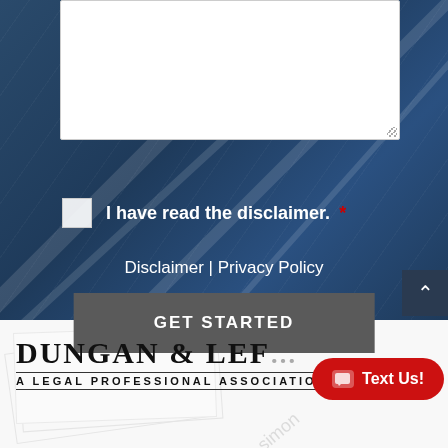[Figure (screenshot): Text area input box with resize handle at bottom right, on dark blue background]
I have read the disclaimer. *
Disclaimer | Privacy Policy
GET STARTED
[Figure (logo): Dungan & LeF... A Legal Professional Association firm logo with text us button overlay]